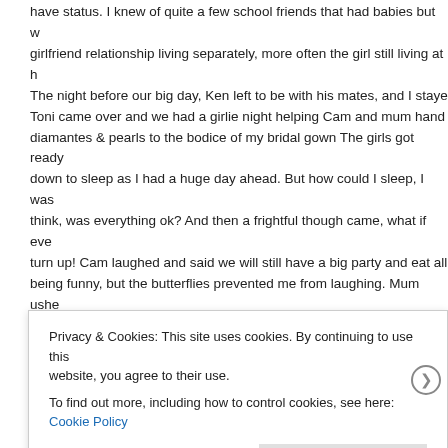have status. I knew of quite a few school friends that had babies but w... girlfriend relationship living separately, more often the girl still living at h... The night before our big day, Ken left to be with his mates, and I staye... Toni came over and we had a girlie night helping Cam and mum hand... diamantes & pearls to the bodice of my bridal gown The girls got ready... down to sleep as I had a huge day ahead. But how could I sleep, I was... think, was everything ok? And then a frightful though came, what if eve... turn up! Cam laughed and said we will still have a big party and eat all... being funny, but the butterflies prevented me from laughing. Mum ushe... told me everything would be just fine and to stop worrying and get to sl... happy I shall be. Now that made me smile. No sooner than my head hi... My eyes opened with the burst of light through the curtain, it took me a... my thoughts and realise that the day was the ninth of September, and... and I bounced out of bed. Cam stayed over too and I ran in her room s... She turned and smiled as she saw my excitement and said, 'let the da...
Privacy & Cookies: This site uses cookies. By continuing to use this website, you agree to their use.
To find out more, including how to control cookies, see here: Cookie Policy
Close and accept